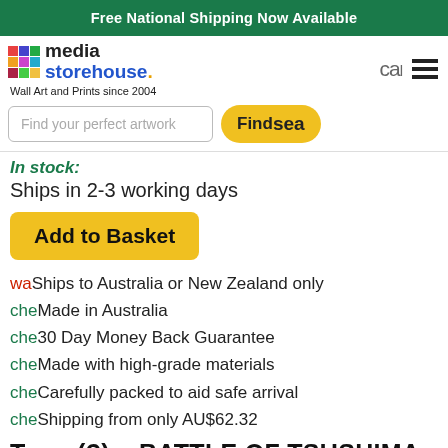Free National Shipping Now Available
[Figure (logo): Media Storehouse logo with colorful grid squares, text 'media storehouse.' and tagline 'Wall Art and Prints since 2004']
cal
[Figure (other): Hamburger menu icon (three horizontal lines)]
Find your perfect artwork
Find sea
In stock:
Ships in 2-3 working days
Add to Basket
waShips to Australia or New Zealand only
cheMade in Australia
che30 Day Money Back Guarantee
cheMade with high-grade materials
cheCarefully packed to aid safe arrival
cheShipping from only AU$62.32
Tsu...(?). BATTLE OF TSUSHIMA